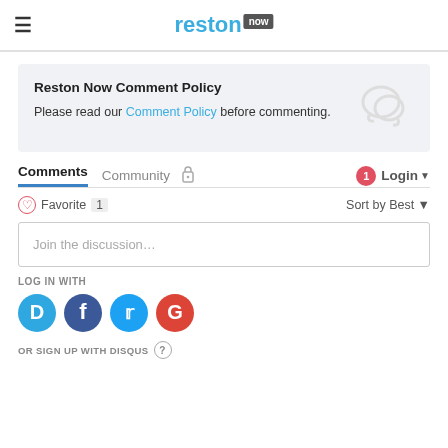reston now
Reston Now Comment Policy
Please read our Comment Policy before commenting.
Comments  Community  Login
Favorite 1  Sort by Best
Join the discussion...
LOG IN WITH
OR SIGN UP WITH DISQUS